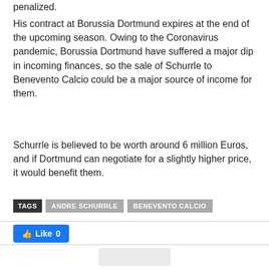His contract at Borussia Dortmund expires at the end of the upcoming season. Owing to the Coronavirus pandemic, Borussia Dortmund have suffered a major dip in incoming finances, so the sale of Schurrle to Benevento Calcio could be a major source of income for them.
Schurrle is believed to be worth around 6 million Euros, and if Dortmund can negotiate for a slightly higher price, it would benefit them.
TAGS  ANDRE SCHURRLE  BENEVENTO CALCIO
[Figure (other): Social sharing section with Facebook Like button showing count 0, and four social media icon buttons (Facebook, Twitter, Pinterest, WhatsApp)]